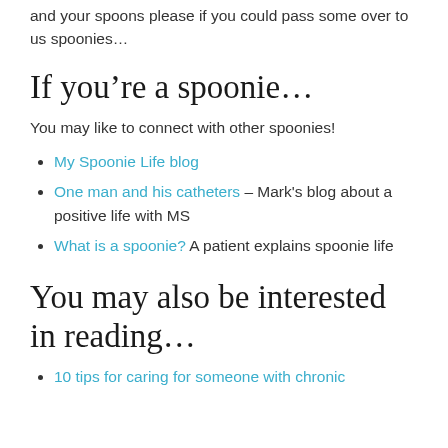and your spoons please if you could pass some over to us spoonies…
If you're a spoonie…
You may like to connect with other spoonies!
My Spoonie Life blog
One man and his catheters – Mark's blog about a positive life with MS
What is a spoonie? A patient explains spoonie life
You may also be interested in reading…
10 tips for caring for someone with chronic